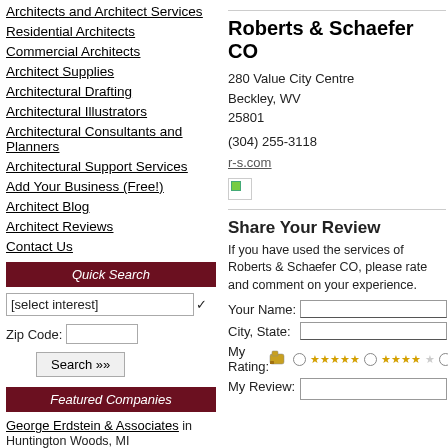Architects and Architect Services
Residential Architects
Commercial Architects
Architect Supplies
Architectural Drafting
Architectural Illustrators
Architectural Consultants and Planners
Architectural Support Services
Add Your Business (Free!)
Architect Blog
Architect Reviews
Contact Us
Quick Search
Featured Companies
George Erdstein & Associates in Huntington Woods, MI
McKinley & Associates in Wheeling, WV
Roberts & Schaefer CO
280 Value City Centre
Beckley, WV
25801
(304) 255-3118
r-s.com
Share Your Review
If you have used the services of Roberts & Schaefer CO, please rate and comment on your experience.
Your Name:
City, State:
My Rating:
My Review: